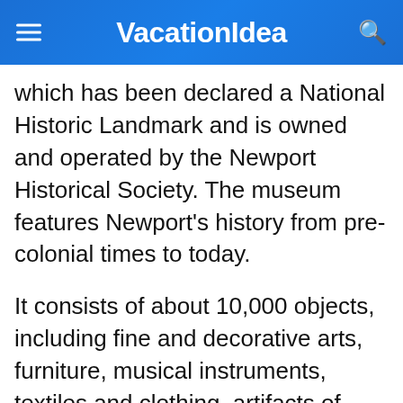VacationIdea
which has been declared a National Historic Landmark and is owned and operated by the Newport Historical Society. The museum features Newport's history from pre-colonial times to today.
It consists of about 10,000 objects, including fine and decorative arts, furniture, musical instruments, textiles and clothing, artifacts of everyday life, and architectural fragments. One of the most popular exhibits is the lens of the Ida Lewis Rock Light. Besides the Old Brick Market, there are a number of items of the...